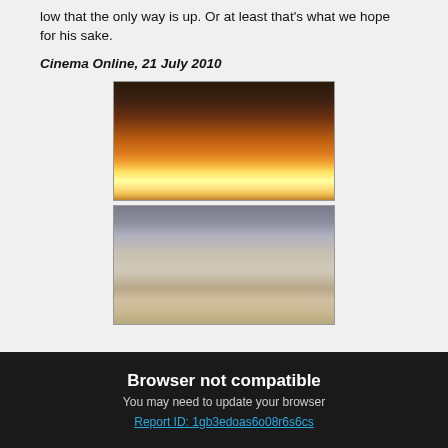low that the only way is up. Or at least that's what we hope for his sake.
Cinema Online, 21 July 2010
[Figure (photo): A scene from a movie showing a character in a cave with fire and flames in the foreground]
[Figure (photo): A scene from a movie showing a character in a martial arts pose in front of a temple-like stone architecture]
Browser not compatible
You may need to update your browser
Report ID: 1gb3edoas6o08r6s6cs